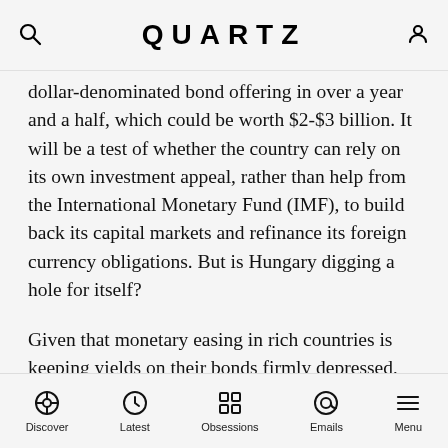QUARTZ
dollar-denominated bond offering in over a year and a half, which could be worth $2-$3 billion. It will be a test of whether the country can rely on its own investment appeal, rather than help from the International Monetary Fund (IMF), to build back its capital markets and refinance its foreign currency obligations. But is Hungary digging a hole for itself?
Given that monetary easing in rich countries is keeping yields on their bonds firmly depressed, Hungary shouldn't have much trouble selling its new debt. Investors sniffing for returns have been plowing cash into emerging markets, which issued $350 billion in new debt in 2012. But there are growing fears among economists, including those at the IMF, that smaller, poorer, or less stable countries raising debt on
Discover  Latest  Obsessions  Emails  Menu